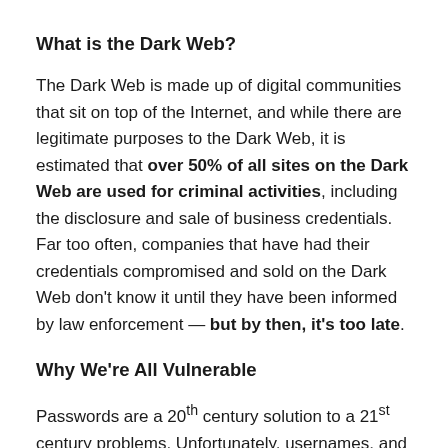What is the Dark Web?
The Dark Web is made up of digital communities that sit on top of the Internet, and while there are legitimate purposes to the Dark Web, it is estimated that over 50% of all sites on the Dark Web are used for criminal activities, including the disclosure and sale of business credentials. Far too often, companies that have had their credentials compromised and sold on the Dark Web don’t know it until they have been informed by law enforcement — but by then, it’s too late.
Why We’re All Vulnerable
Passwords are a 20th century solution to a 21st century problems. Unfortunately, usernames and ...